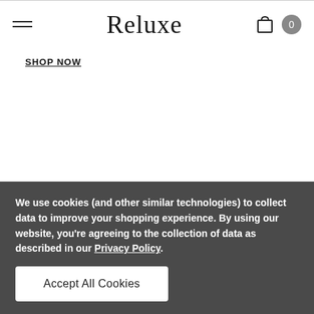Reluxe
language of art.
SHOP NOW
How to sell with Reluxe
We use cookies (and other similar technologies) to collect data to improve your shopping experience. By using our website, you're agreeing to the collection of data as described in our Privacy Policy.
Accept All Cookies